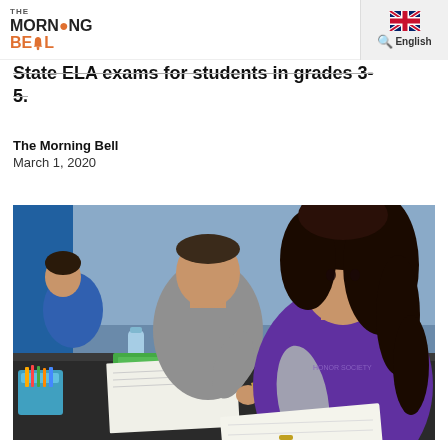The Morning Bell — English
State ELA exams for students in grades 3-5.
The Morning Bell
March 1, 2020
[Figure (photo): Students sitting at desks in a classroom taking a written exam or test. Several students are visible writing on papers, with one student in a purple shirt prominent in the foreground.]